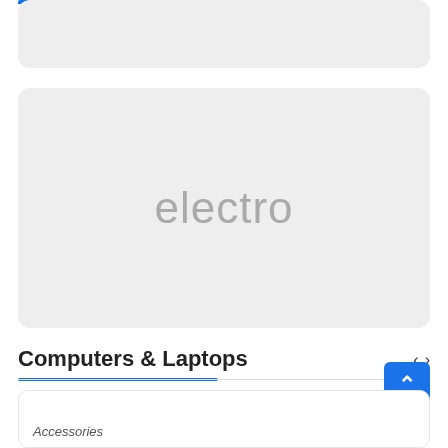[Figure (screenshot): Top gray rounded card, partially visible at top of page, with blue progress bar across top edge]
[Figure (screenshot): Large gray rounded card with 'electro' watermark text in light gray, centered]
Computers & Laptops
[Figure (screenshot): Blue back-to-top button with upward arrow chevron, positioned bottom right]
Accessories